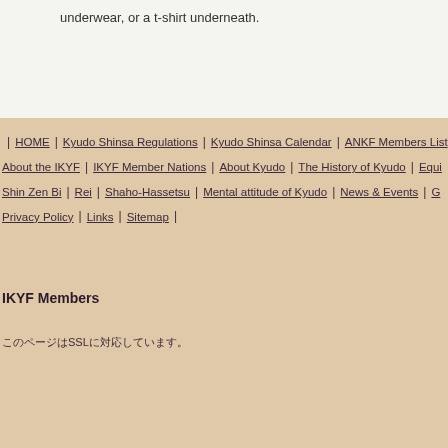underwear, or a t-shirt underneath.
HOME | Kyudo Shinsa Regulations | Kyudo Shinsa Calendar | ANKF Members List | About the IKYF | IKYF Member Nations | About Kyudo | The History of Kyudo | Equi... | Shin Zen Bi | Rei | Shaho-Hassetsu | Mental attitude of Kyudo | News & Events | G... | Privacy Policy | Links | Sitemap |
IKYF Members
このページはSSLに対応しています。